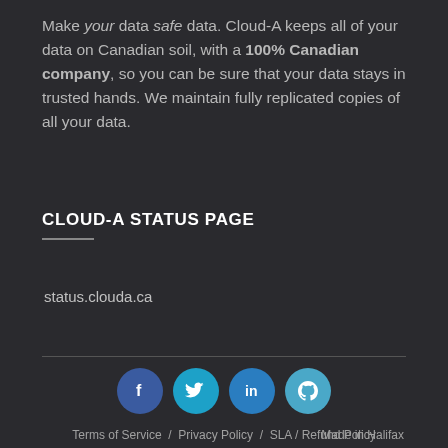Make your data safe data. Cloud-A keeps all of your data on Canadian soil, with a 100% Canadian company, so you can be sure that your data stays in trusted hands. We maintain fully replicated copies of all your data.
CLOUD-A STATUS PAGE
status.clouda.ca
[Figure (infographic): Social media icons: Facebook, Twitter, LinkedIn, GitHub displayed as colored circles]
Terms of Service / Privacy Policy / SLA / Refund Policy / Account Verification / Contact
Made in Halifax